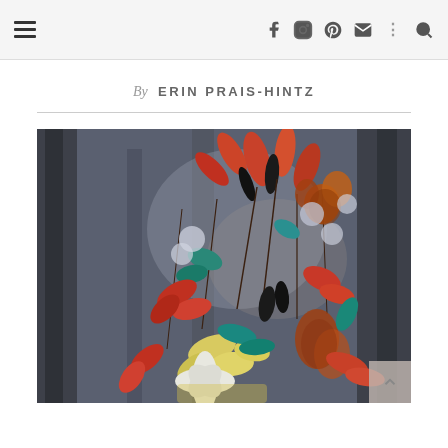Navigation header with hamburger menu and social icons (Facebook, Instagram, Pinterest, Email, More, Search)
By ERIN PRAIS-HINTZ
[Figure (illustration): Colorful botanical still life painting with orange, teal, black, and yellow leaves and flowers against a dark grey background. Vivid expressionistic floral artwork.]